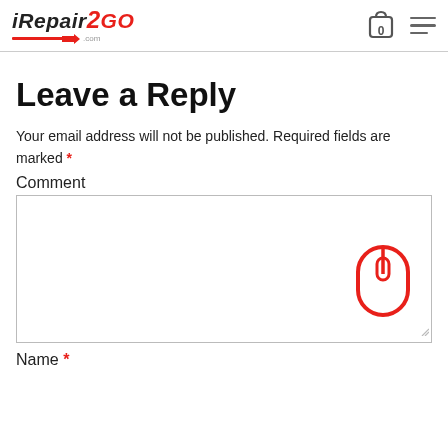iRepair2GO logo, cart icon with 0, menu icon
Leave a Reply
Your email address will not be published. Required fields are marked *
Comment
[Figure (screenshot): Comment text area input box with mouse scroll icon inside]
Name *